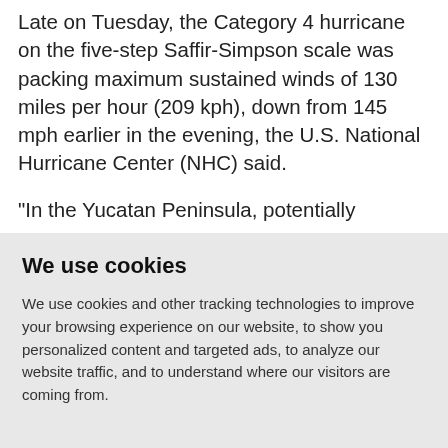Late on Tuesday, the Category 4 hurricane on the five-step Saffir-Simpson scale was packing maximum sustained winds of 130 miles per hour (209 kph), down from 145 mph earlier in the evening, the U.S. National Hurricane Center (NHC) said.
"In the Yucatan Peninsula, potentially
We use cookies
We use cookies and other tracking technologies to improve your browsing experience on our website, to show you personalized content and targeted ads, to analyze our website traffic, and to understand where our visitors are coming from.